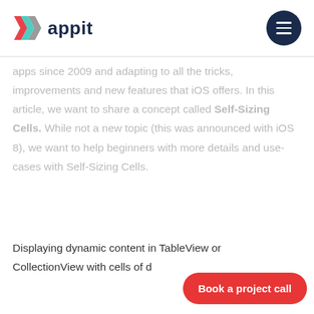appit
apps since 2009 and adapting to all the tricks, improvements and new features that iOS offers. In this article, we want to share a concept called Self-Sizing Cells. While not a new topic (this was announced with iOS 8), we want to help beginners with more details and use-cases with Self-Sizing Cells.
Displaying dynamic content in TableView or CollectionView with cells of d...